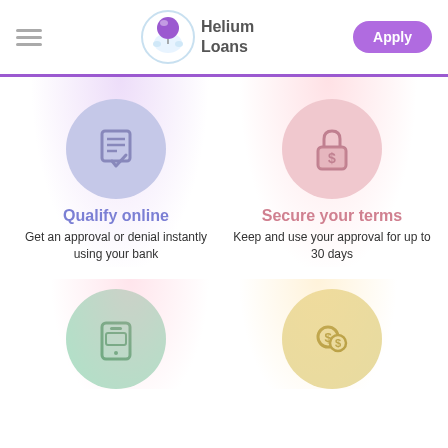Helium Loans — Apply
[Figure (logo): Helium Loans logo with balloon character and brand name]
Qualify online
Get an approval or denial instantly using your bank
Secure your terms
Keep and use your approval for up to 30 days